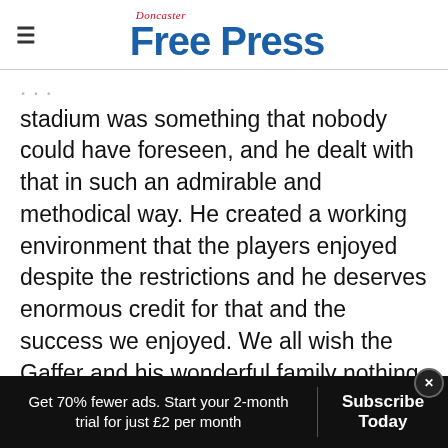Doncaster Free Press
stadium was something that nobody could have foreseen, and he dealt with that in such an admirable and methodical way. He created a working environment that the players enjoyed despite the restrictions and he deserves enormous credit for that and the success we enjoyed. We all wish the Gaffer and his wonderful family nothing but the best for the future."
Get 70% fewer ads. Start your 2-month trial for just £2 per month  Subscribe Today